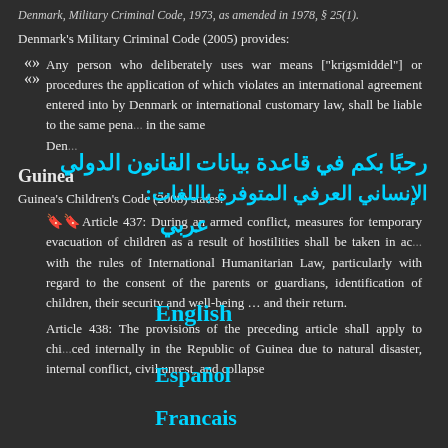Denmark, Military Criminal Code, 1973, as amended in 1978, § 25(1).
Denmark's Military Criminal Code (2005) provides:
Any person who deliberately uses war means ["krigsmiddel"] or procedures the application of which violates an international agreement entered into by Denmark or international customary law, shall be liable to the same penalty... Denmark...
Guinea
Guinea's Children's Code (2008) states:
Article 437: During an armed conflict, measures for temporary evacuation of children as a result of hostilities shall be taken in accordance with the rules of International Humanitarian Law, particularly with regard to the consent of the parents or guardians, identification of children, their security and well-being … and their return.
Article 438: The provisions of the preceding article shall apply to children displaced internally in the Republic of Guinea due to natural disaster, internal conflict, civil unrest, and collapse